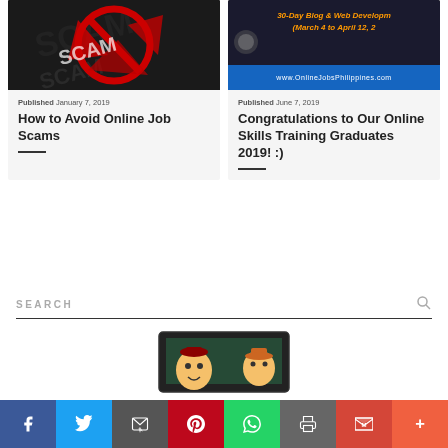[Figure (illustration): Scam text with red cross-out circle on dark background]
Published January 7, 2019
How to Avoid Online Job Scams
[Figure (illustration): OnlineJobsPhilippines.com 30-Day Blog & Web Development training banner (March 4 to April 12, 2)]
Published June 7, 2019
Congratulations to Our Online Skills Training Graduates 2019! :)
SEARCH
[Figure (illustration): Animated cartoon characters on a computer screen]
[Figure (other): Social sharing bar with Facebook, Twitter, Email, Pinterest, WhatsApp, Print, Gmail, More buttons]